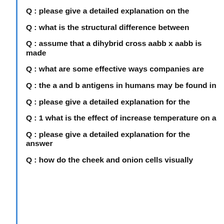Q : please give a detailed explanation on the
Q : what is the structural difference between
Q : assume that a dihybrid cross aabb x aabb is made
Q : what are some effective ways companies are
Q : the a and b antigens in humans may be found in
Q : please give a detailed explanation for the
Q : 1 what is the effect of increase temperature on a
Q : please give a detailed explanation for the answer
Q : how do the cheek and onion cells visually